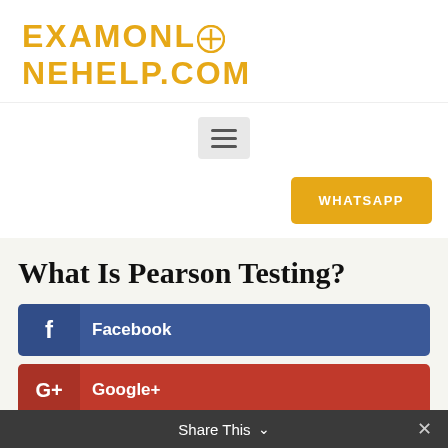[Figure (logo): EXAMONLINEHELP.COM logo in bold yellow/gold uppercase letters]
[Figure (screenshot): Hamburger menu button (three horizontal lines) on light grey background]
[Figure (screenshot): Yellow WHATSAPP button aligned to the right]
What Is Pearson Testing?
[Figure (screenshot): Facebook share button - blue with 'f' icon and text 'Facebook']
[Figure (screenshot): Google+ share button - red with 'G+' icon and text 'Google+']
[Figure (screenshot): Reddit share button - red-orange with reddit icon and text 'reddit']
Share This  ×